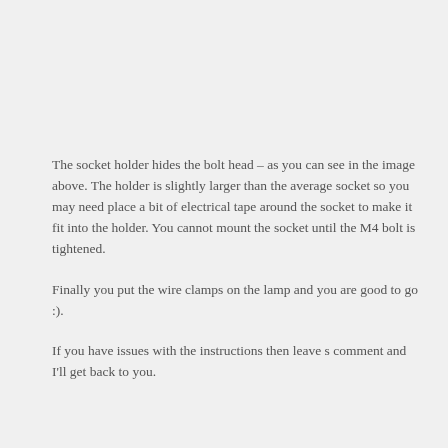The socket holder hides the bolt head – as you can see in the image above. The holder is slightly larger than the average socket so you may need place a bit of electrical tape around the socket to make it fit into the holder. You cannot mount the socket until the M4 bolt is tightened.
Finally you put the wire clamps on the lamp and you are good to go :).
If you have issues with the instructions then leave s comment and I'll get back to you.